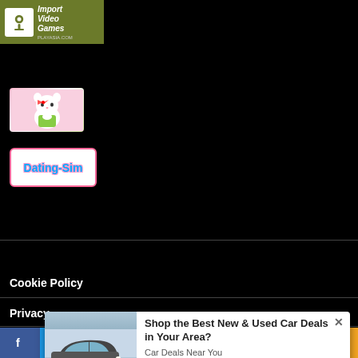[Figure (logo): Play-Asia Import Video Games banner with key icon logo]
[Figure (photo): Hello Kitty plush toy image]
[Figure (logo): Dating-Sim logo banner with colorful text]
Cookie Policy
Privacy
[Figure (screenshot): Ad popup: Shop the Best New & Used Car Deals in Your Area? Car Deals Near You — PurpleAds, with car image on left and close button]
[Figure (infographic): Social sharing bar at bottom: Facebook, Twitter, Google, LinkedIn, Pinterest, Tumblr, WordPress, WhatsApp, Share]